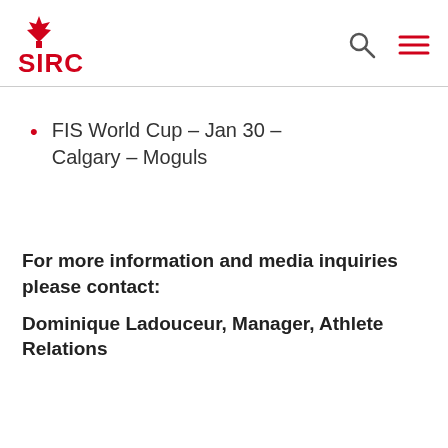SIRC
FIS World Cup – Jan 30 – Calgary – Moguls
For more information and media inquiries please contact:
Dominique Ladouceur, Manager, Athlete Relations